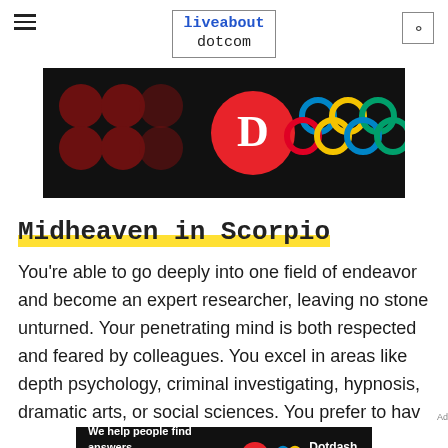liveabout dotcom
[Figure (screenshot): Dark advertisement banner with red dots/circles pattern on left, red circle with D logo in center, and colorful Olympic-style rings on right, on black background]
Midheaven in Scorpio
You're able to go deeply into one field of endeavor and become an expert researcher, leaving no stone unturned. Your penetrating mind is both respected and feared by colleagues. You excel in areas like depth psychology, criminal investigating, hypnosis, dramatic arts, or social sciences. You prefer to hav
[Figure (screenshot): Dark advertisement banner reading 'We help people find answers, solve problems and get inspired.' with Dotdash Meredith logo]